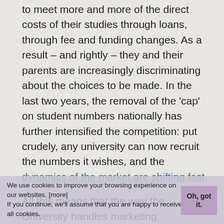to meet more and more of the direct costs of their studies through loans, through fee and funding changes. As a result – and rightly – they and their parents are increasingly discriminating about the choices to be made. In the last two years, the removal of the 'cap' on student numbers nationally has further intensified the competition: put crudely, any university can now recruit the numbers it wishes, and the dynamics of the market are shifting fast.
All this means that the way the University handles marketing, recruitment and admissions is changing. Beyond the traditional focus on preparing prospectuses and managing the UCAS procedure, there is now a close focus on post-offer recruitment. That means intensive work on converting applicants to student enrolments – because each potential student is holding offers from five universities. On
We use cookies to improve your browsing experience on our websites. [more] If you continue, we'll assume that you are happy to receive all cookies. Oh, got it.